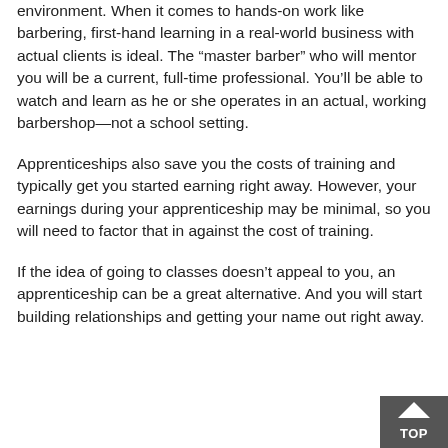environment. When it comes to hands-on work like barbering, first-hand learning in a real-world business with actual clients is ideal. The “master barber” who will mentor you will be a current, full-time professional. You’ll be able to watch and learn as he or she operates in an actual, working barbershop—not a school setting.
Apprenticeships also save you the costs of training and typically get you started earning right away. However, your earnings during your apprenticeship may be minimal, so you will need to factor that in against the cost of training.
If the idea of going to classes doesn’t appeal to you, an apprenticeship can be a great alternative. And you will start building relationships and getting your name out right away.